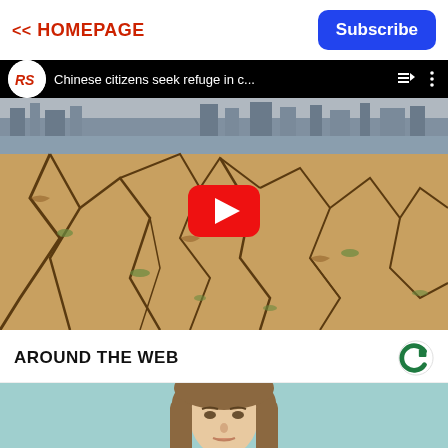<< HOMEPAGE
Subscribe
[Figure (screenshot): YouTube video thumbnail showing cracked dry earth/drought landscape with city skyline in background. Video title: 'Chinese citizens seek refuge in c...' with YouTube play button overlay. Channel logo (RS) visible top left.]
AROUND THE WEB
[Figure (photo): Partial photo of a young woman with straight brown hair against a light teal/blue background, cropped at bottom of page.]